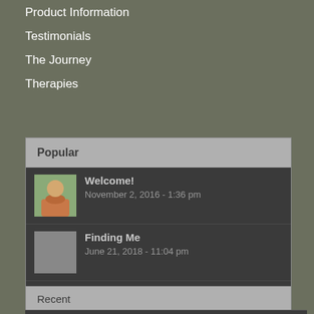Product Information
Testimonials
The Journey
Therapies
Popular
Welcome!
November 2, 2016 - 1:36 pm
Finding Me
June 21, 2018 - 11:04 pm
Aura-Soma B45 The Breath of Love
October 25, 2016 - 11:46 am
Recent
Comments